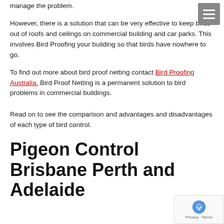manage the problem.
However, there is a solution that can be very effective to keep birds out of roofs and ceilings on commercial building and car parks. This involves Bird Proofing your building so that birds have nowhere to go.
To find out more about bird proof netting contact Bird Proofing Australia. Bird Proof Netting is a permanent solution to bird problems in commercial buildings.
Read on to see the comparison and advantages and disadvantages of each type of bird control.
Pigeon Control Brisbane Perth and Adelaide